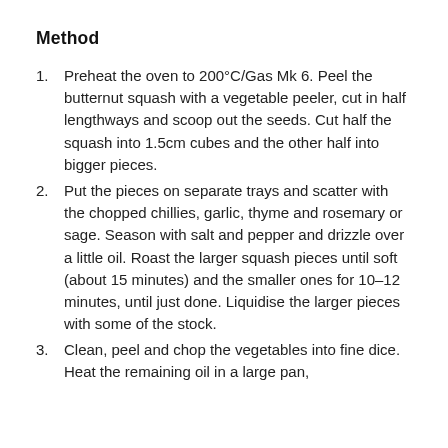Method
Preheat the oven to 200°C/Gas Mk 6. Peel the butternut squash with a vegetable peeler, cut in half lengthways and scoop out the seeds. Cut half the squash into 1.5cm cubes and the other half into bigger pieces.
Put the pieces on separate trays and scatter with the chopped chillies, garlic, thyme and rosemary or sage. Season with salt and pepper and drizzle over a little oil. Roast the larger squash pieces until soft (about 15 minutes) and the smaller ones for 10–12 minutes, until just done. Liquidise the larger pieces with some of the stock.
Clean, peel and chop the vegetables into fine dice. Heat the remaining oil in a large pan,